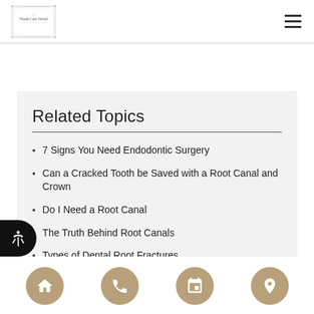[Figure (logo): Visalia Care Dental ornate logo with decorative border]
Related Topics
7 Signs You Need Endodontic Surgery
Can a Cracked Tooth be Saved with a Root Canal and Crown
Do I Need a Root Canal
The Truth Behind Root Canals
Types of Dental Root Fractures
[Figure (infographic): Bottom navigation bar with home, phone, calendar, and location icons on tan/gold circular buttons]